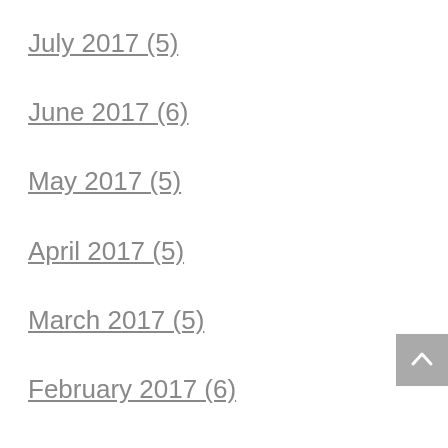July 2017 (5)
June 2017 (6)
May 2017 (5)
April 2017 (5)
March 2017 (5)
February 2017 (6)
January 2017 (6)
December 2016 (4)